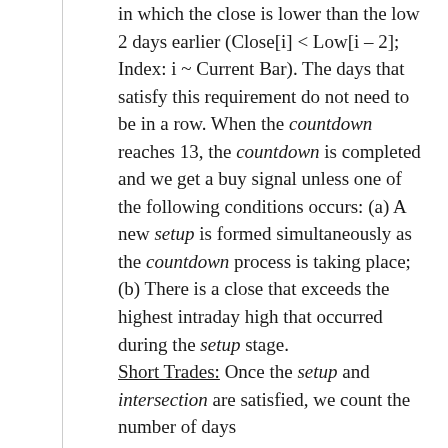in which the close is lower than the low 2 days earlier (Close[i] < Low[i – 2]; Index: i ~ Current Bar). The days that satisfy this requirement do not need to be in a row. When the countdown reaches 13, the countdown is completed and we get a buy signal unless one of the following conditions occurs: (a) A new setup is formed simultaneously as the countdown process is taking place; (b) There is a close that exceeds the highest intraday high that occurred during the setup stage. Short Trades: Once the setup and intersection are satisfied, we count the number of days